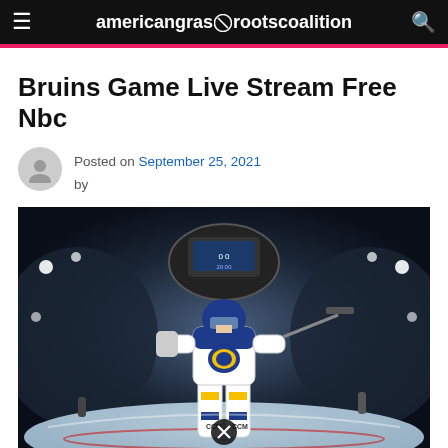americangrassrootscoalition
Bruins Game Live Stream Free Nbc
Posted on September 25, 2021 by
[Figure (photo): Hockey goalie in St. Louis Blues uniform standing on ice rink with arena crowd and scoreboard in background, fisheye lens perspective]